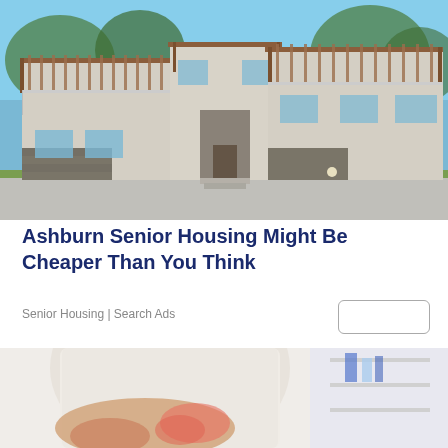[Figure (photo): Exterior photo of modern residential housing units with wooden pergola structures, stone accents, balconies, and landscaping against a blue sky.]
Ashburn Senior Housing Might Be Cheaper Than You Think
Senior Housing | Search Ads
[Figure (photo): Close-up photo of a person in a white t-shirt holding their abdomen/stomach area, suggesting pain, with blurred shelves in the background.]